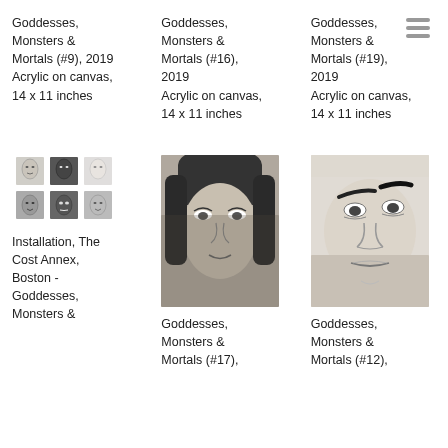Goddesses, Monsters & Mortals (#9), 2019 Acrylic on canvas, 14 x 11 inches
Goddesses, Monsters & Mortals (#16), 2019 Acrylic on canvas, 14 x 11 inches
Goddesses, Monsters & Mortals (#19), 2019 Acrylic on canvas, 14 x 11 inches
[Figure (photo): Grid of 6 small face portraits in black and white]
Installation, The Cost Annex, Boston - Goddesses, Monsters &
[Figure (photo): Close-up black and white portrait of a woman's face]
Goddesses, Monsters & Mortals (#17),
[Figure (photo): Black and white sketch-like portrait of a face]
Goddesses, Monsters & Mortals (#12),